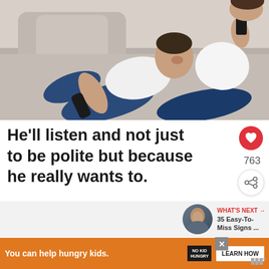[Figure (photo): A couple relaxing on a gray couch. A man in white t-shirt and jeans holds a TV remote and rests his head on a woman's lap. She is smiling and using a phone, wearing jeans. Overhead view, cozy living room setting.]
He'll listen and not just to be polite but because he really wants to.
[Figure (other): WHAT'S NEXT arrow label with thumbnail of a man and text: 35 Easy-To-Miss Signs ...]
[Figure (other): Advertisement bar: 'You can help hungry kids.' with No Kid Hungry logo and LEARN HOW button on orange background.]